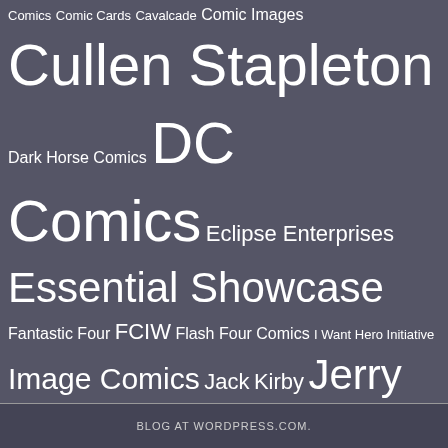Comics Comic Cards Cavalcade Comic Images Cullen Stapleton Dark Horse Comics DC Comics Eclipse Enterprises Essential Showcase Fantastic Four FCIW Flash Four Comics I Want Hero Initiative Image Comics Jack Kirby Jerry McMullen Marvel Marvel Comics Pick 3 Planet Comicon San Diego Comic Con Skybox International Spider-Man Star Wars Superhero Yearbook Super Hero Yearbook Superman The Definitive Directory Of The DC Universe The Official Handbook Of The Marvel Universe Thor Throwback Thursday Valiant Comics Vertigo Comics WCPEver 5.0 Who's Who Worst Comic Podcast EVER!
BLOG AT WORDPRESS.COM.